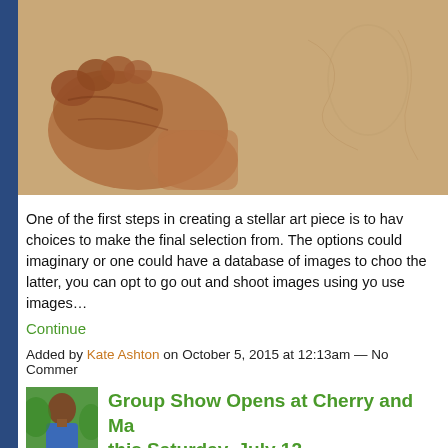[Figure (illustration): Cropped view of a figurative pencil/colored pencil drawing on tan paper showing feet and lower legs with warm reddish-brown tones]
One of the first steps in creating a stellar art piece is to have choices to make the final selection from. The options could be imaginary or one could have a database of images to choose from. For the latter, you can opt to go out and shoot images using you use images…
Continue
Added by Kate Ashton on October 5, 2015 at 12:13am — No Comments
[Figure (photo): Small avatar photo of a man in a blue shirt outdoors]
Group Show Opens at Cherry and Ma this Saturday, July 12,
[Figure (photo): Partial image of an artwork showing blue and striped vertical elements]
A group exhibit Augment This the Image) will this S